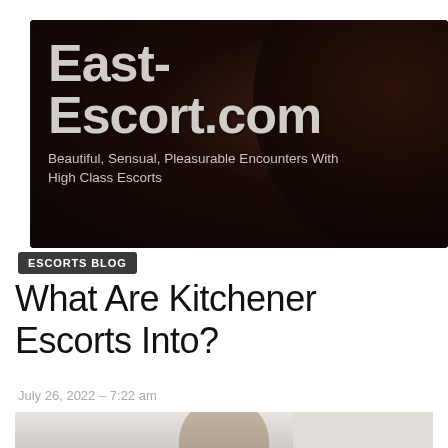[Figure (logo): East-Escort.com website banner with dark background showing hair texture, large white text 'East-Escort.com' and subtitle 'Beautiful, Sensual, Pleasurable Encounters With High Class Escorts']
ESCORTS BLOG
What Are Kitchener Escorts Into?
July 26, 2022 – 7:22 am
[Figure (photo): Partial photo of a young woman with long brown hair against a white brick wall background]